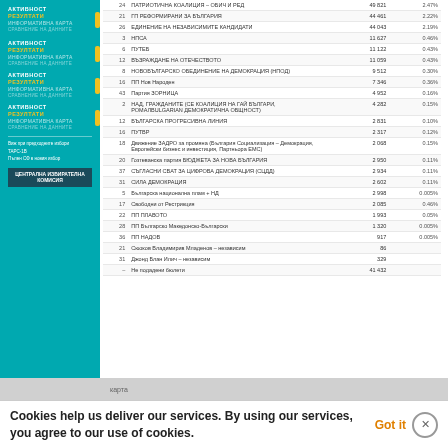| # | Candidate/Party | Votes | % |
| --- | --- | --- | --- |
| 24 | ПАТРИОТИЧНА КОАЛИЦИЯ – ОБИЧ И РЕД | 49 821 | 2.47% |
| 21 | ГП РЕФОРМИРАНИ ЗА БЪЛГАРИЯ | 44 461 | 2.22% |
| 26 | ЕДИНЕНИЕ НА НЕЗАВИСИМИТЕ КАНДИДАТИ | 44 043 | 2.19% |
| 3 | НПСА | 11 627 | 0.46% |
| 6 | ПУТЕБ | 11 122 | 0.43% |
| 12 | ВЪЗРАЖДАНЕ НА ОТЕЧЕСТВОТО | 11 059 | 0.43% |
| 8 | НОВОБЪЛГАРСКО ОБЕДИНЕНИЕ НА ДЕМОКРАЦИЯ (НПОД) | 9 512 | 0.30% |
| 16 | ПП Нов Народен | 7 346 | 0.36% |
| 43 | Партия ЗОРНИЦА | 4 952 | 0.16% |
| 2 | НАД, ГРАЖДАНИТЕ (СЕ КОАЛИЦИЯ НА ГАЙ БЪЛГАРИ, РОМАЛBULGARIAN ОБЩНОСТ) | 4 282 | 0.15% |
| 12 | БЪЛГАРСКА ПРОГРЕСИВНА ЛИНИЯ | 2 831 | 0.10% |
| 16 | ПУТВР | 2 317 | 0.12% |
| 18 | Движение ЗАДРО за промяна (България Социализация – Демокрация, Европейски бизнес и инвестиция, Партньора ЕМС) | 2 068 | 0.15% |
| 20 | Гозтеванска партия  БЮДЖЕТА ЗА НОВА БЪЛГАРИЯ | 2 950 | 0.11% |
| 37 | СЪГЛАСНИ CBAT ЗА ЦИФРОВА ДЕМОКРАЦИЯ (СЦДД) | 2 934 | 0.11% |
| 31 | СИЛА ДЕМОКРАЦИЯ | 2 602 | 0.11% |
| 5 | Българска национална плам + НД | 2 998 | 0.005% |
| 17 | Свободни от Рестрикция | 2 085 | 0.46% |
| 22 | ПП ПЛАВОТО | 1 993 | 0.05% |
| 28 | ПП Българско Македонско-Български | 1 320 | 0.005% |
| 36 | ПП НАДОВ | 917 | 0.005% |
| 21 | Слоков Владимирив Младенов – независим | 86 |  |
| 31 | Джонд Блан Илич – независим | 329 |  |
| – | Не подадени бюлети | 41 432 |  |
Cookies help us deliver our services. By using our services, you agree to our use of cookies.
Got it